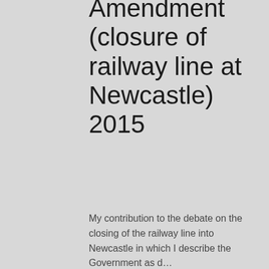Amendment (closure of railway line at Newcastle) 2015
My contribution to the debate on the closing of the railway line into Newcastle in which I describe the Government as d…
Sep 15, 2015
Independent Commission against Corruption